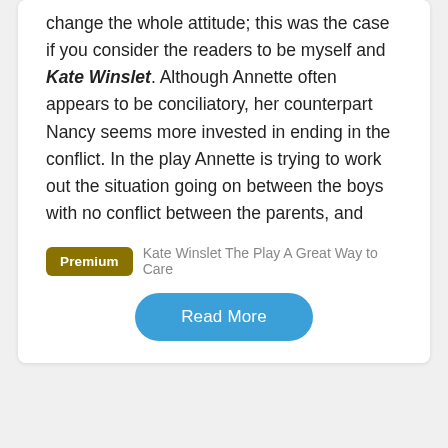change the whole attitude; this was the case if you consider the readers to be myself and Kate Winslet. Although Annette often appears to be conciliatory, her counterpart Nancy seems more invested in ending in the conflict. In the play Annette is trying to work out the situation going on between the boys with no conflict between the parents, and
Premium  Kate Winslet The Play A Great Way to Care
Read More